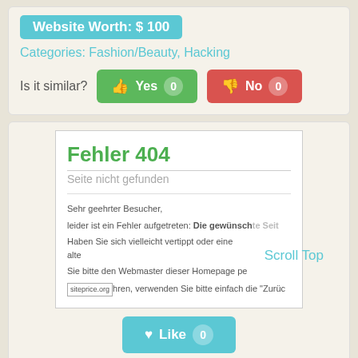Website Worth: $ 100
Categories: Fashion/Beauty, Hacking
Is it similar? Yes 0  No 0
[Figure (screenshot): Screenshot of a 404 error page in German: 'Fehler 404 - Seite nicht gefunden'. Shows error message text in German about page not found, with siteprice.org badge overlay and Scroll Top link.]
Like 0
finalprotection.de